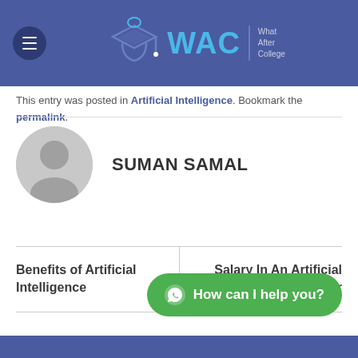[Figure (logo): WAC - What After College logo with graduation cap icon on blue header bar]
This entry was posted in Artificial Intelligence. Bookmark the permalink.
[Figure (illustration): Generic grey user avatar silhouette circle icon next to author name SUMAN SAMAL]
SUMAN SAMAL
Benefits of Artificial Intelligence
Salary In An Artificial Intelligence Career
How can I help you?